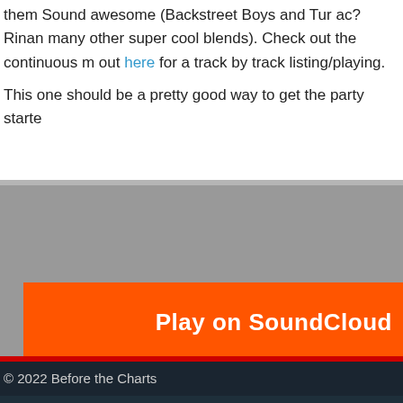them Sound awesome (Backstreet Boys and Tur ac? Rinan many other super cool blends). Check out the continuous m out here for a track by track listing/playing.
This one should be a pretty good way to get the party starte
[Figure (screenshot): SoundCloud embedded player widget with orange 'Play on SoundCloud' button, gray 'Listen in browser' button, and 'Privacy policy' link at bottom left.]
0 comm
© 2022 Before the Charts